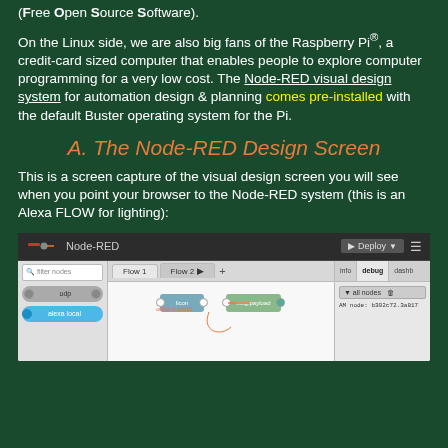(Free Open Source Software).
On the Linux side, we are also big fans of the Raspberry Pi®, a credit-card sized computer that enables people to explore computer programming for a very low cost. The Node-RED visual design system for automation design & planning comes pre-installed with the default Buster operating system for the Pi.
A. The Node-RED Design Screen
This is a screen capture of the visual design screen you will see when you point your browser to the Node-RED system (this is an Alexa FLOW for lighting):
[Figure (screenshot): Screenshot of the Node-RED visual design interface showing the main toolbar with Deploy button, left sidebar with filter nodes search box and node items (udp, alexa local), main canvas with Flow 1 and Flow 2 tabs showing connected nodes (licon, msg.payload), and right sidebar with info/debug/dashboard tabs showing log output.]